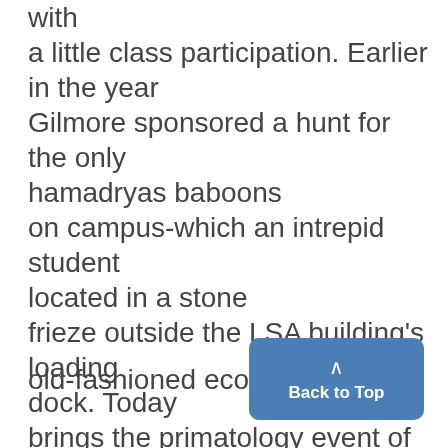with a little class participation. Earlier in the year Gilmore sponsored a hunt for the only hamadryas baboons on campus-which an intrepid student located in a stone frieze outside the LSA building's loading dock. Today brings the primatology event of the year- the primatologist inke nntest. Manv resnnnes have come in sn far to the
old-fashioned economy